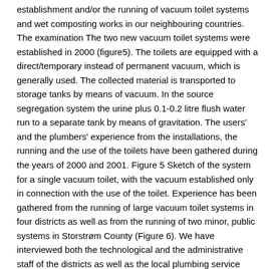establishment and/or the running of vacuum toilet systems and wet composting works in our neighbouring countries. The examination The two new vacuum toilet systems were established in 2000 (figure5). The toilets are equipped with a direct/temporary instead of permanent vacuum, which is generally used. The collected material is transported to storage tanks by means of vacuum. In the source segregation system the urine plus 0.1-0.2 litre flush water run to a separate tank by means of gravitation. The users' and the plumbers' experience from the installations, the running and the use of the toilets have been gathered during the years of 2000 and 2001. Figure 5 Sketch of the system for a single vacuum toilet, with the vacuum established only in connection with the use of the toilet. Experience has been gathered from the running of large vacuum toilet systems in four districts as well as from the running of two minor, public systems in Storstrøm County (Figure 6). We have interviewed both the technological and the administrative staff of the districts as well as the local plumbing service who have repaired the systems and replaced the toilets. Test results from vacuum toilet systems in Sweden and Germany as well as the